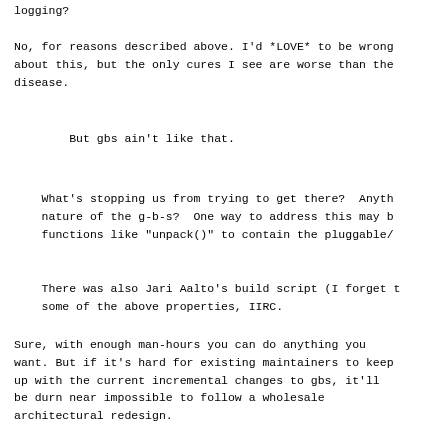logging?
No, for reasons described above. I'd *LOVE* to be wrong about this, but the only cures I see are worse than the disease.
But gbs ain't like that.
What's stopping us from trying to get there?  Anyth nature of the g-b-s?  One way to address this may b functions like "unpack()" to contain the pluggable/
There was also Jari Aalto's build script (I forget t some of the above properties, IIRC.
Sure, with enough man-hours you can do anything you want. But if it's hard for existing maintainers to keep up with the current incremental changes to gbs, it'll be durn near impossible to follow a wholesale architectural redesign.